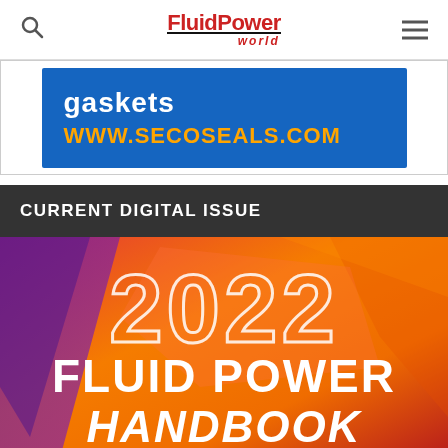FluidPower world
[Figure (photo): Advertisement for Seco Seals showing blue background with text 'gaskets' and 'WWW.SECOSEALS.COM' in orange]
CURRENT DIGITAL ISSUE
[Figure (photo): 2022 Fluid Power Handbook magazine cover with colorful polygon background, large outlined '2022' text, and bold white 'FLUID POWER HANDBOOK' text]